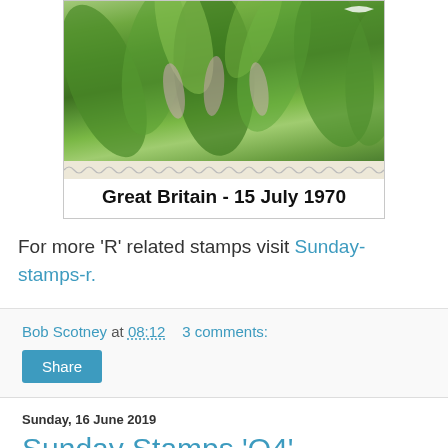[Figure (photo): Postage stamp image showing runners/athletes on green foliage background, Great Britain - 15 July 1970]
Great Britain - 15 July 1970
For more 'R' related stamps visit Sunday-stamps-r.
Bob Scotney at 08:12   3 comments:
Share
Sunday, 16 June 2019
Sunday Stamps 'Q4' - Ecuador, Japan
I thought i would have to resort to stamps showing foreign queens this week until I found this stamp from Ecuador.